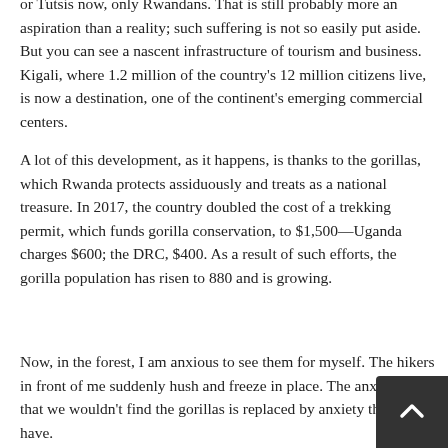or Tutsis now, only Rwandans. That is still probably more an aspiration than a reality; such suffering is not so easily put aside. But you can see a nascent infrastructure of tourism and business. Kigali, where 1.2 million of the country's 12 million citizens live, is now a destination, one of the continent's emerging commercial centers.
A lot of this development, as it happens, is thanks to the gorillas, which Rwanda protects assiduously and treats as a national treasure. In 2017, the country doubled the cost of a trekking permit, which funds gorilla conservation, to $1,500—Uganda charges $600; the DRC, $400. As a result of such efforts, the gorilla population has risen to 880 and is growing.
Now, in the forest, I am anxious to see them for myself. The hikers in front of me suddenly hush and freeze in place. The anxiety I had that we wouldn't find the gorillas is replaced by anxiety that we have.